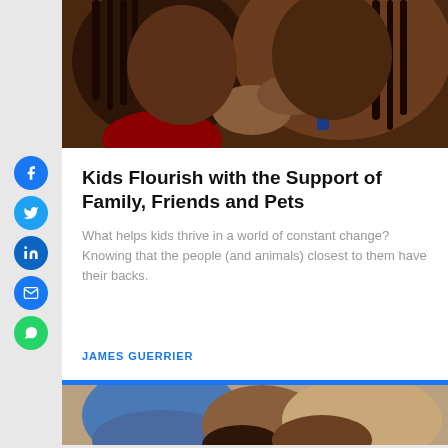[Figure (photo): Close-up photo of two Black children making funny faces and gestures with their hands, one wearing a tie]
Kids Flourish with the Support of Family, Friends and Pets
What helps kids thrive in a world of constant change? Knowing that the people (and animals) closest to them have their backs.
JAMES GUERRIER
[Figure (photo): Partial photo of adults and children at the bottom of the page]